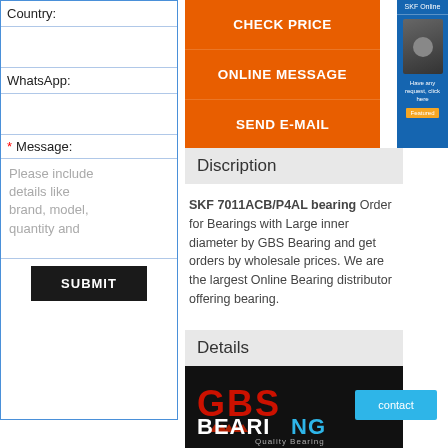Country:
WhatsApp:
* Message:
Please include details like brand, model, quantity and
SUBMIT
CHECK PRICE
ONLINE MESSAGE
SEND E-MAIL
Discription
SKF 7011ACB/P4AL bearing Order for Bearings with Large inner diameter by GBS Bearing and get orders by wholesale prices. We are the largest Online Bearing distributor offering bearing.
Details
[Figure (logo): GBS Bearing logo with red GBS text and white BEARING text, Quality Bearing tagline on black background]